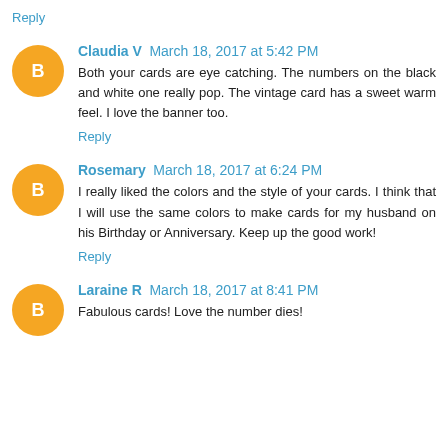Reply
Claudia V March 18, 2017 at 5:42 PM
Both your cards are eye catching. The numbers on the black and white one really pop. The vintage card has a sweet warm feel. I love the banner too.
Reply
Rosemary March 18, 2017 at 6:24 PM
I really liked the colors and the style of your cards. I think that I will use the same colors to make cards for my husband on his Birthday or Anniversary. Keep up the good work!
Reply
Laraine R March 18, 2017 at 8:41 PM
Fabulous cards! Love the number dies!